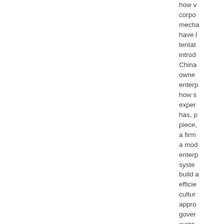how v corpo mecha have l tentat introd China owne enterp how s exper has, p piece, a firm a mod enterp syste build a efficie cultur appro gover syste law ar